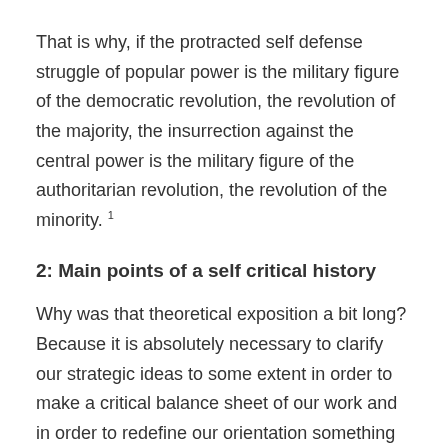That is why, if the protracted self defense struggle of popular power is the military figure of the democratic revolution, the revolution of the majority, the insurrection against the central power is the military figure of the authoritarian revolution, the revolution of the minority. 1
2: Main points of a self critical history
Why was that theoretical exposition a bit long? Because it is absolutely necessary to clarify our strategic ideas to some extent in order to make a critical balance sheet of our work and in order to redefine our orientation something which everyone feels the need to do.